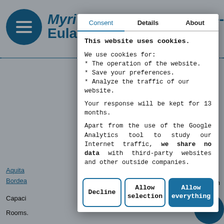[Figure (screenshot): Background webpage with blue header logo, title text partially visible (Myri...nte-Eula...), dotted blue line separator, link text (Aquita... Borde...), capacity and rooms info, and blue circle blob bottom right]
Consent	Details	About
This website uses cookies.

We use cookies for:
* The operation of the website.
* Save your preferences.
* Analyze the traffic of our website.

Your response will be kept for 13 months.

Apart from the use of the Google Analytics tool to study our Internet traffic, we share no data with third-party websites and other outside companies.
Decline
Allow selection
Allow everything